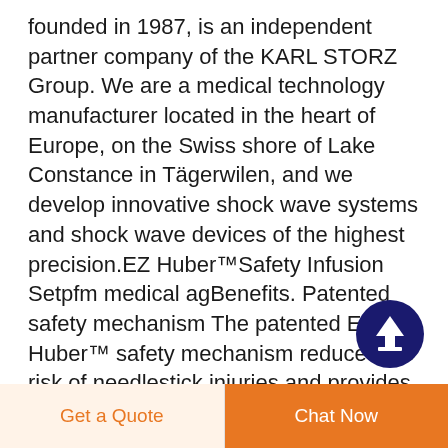founded in 1987, is an independent partner company of the KARL STORZ Group. We are a medical technology manufacturer located in the heart of Europe, on the Swiss shore of Lake Constance in Tägerwilen, and we develop innovative shock wave systems and shock wave devices of the highest precision.EZ Huber™Safety Infusion Setpfm medical agBenefits. Patented safety mechanism The patented EZ Huber™ safety mechanism reduces the risk of needlestick injuries and provides
[Figure (other): Dark navy blue circular scroll-to-top button with a white upward arrow icon]
Get a Quote   Chat Now